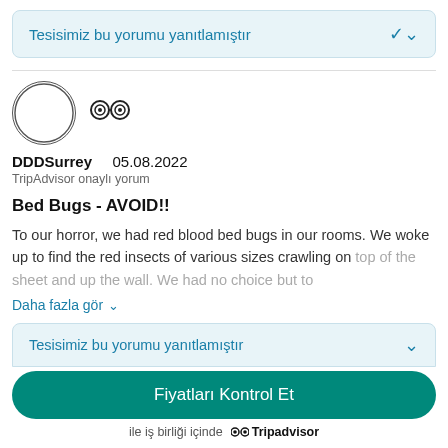Tesisimiz bu yorumu yanıtlamıştır
DDDSurrey   05.08.2022
TripAdvisor onaylı yorum
Bed Bugs - AVOID!!
To our horror, we had red blood bed bugs in our rooms. We woke up to find the red insects of various sizes crawling on top of the sheet and up the wall. We had no choice but to
Daha fazla gör
Tesisimiz bu yorumu yanıtlamıştır
Fiyatları Kontrol Et
ile iş birliği içinde   Tripadvisor